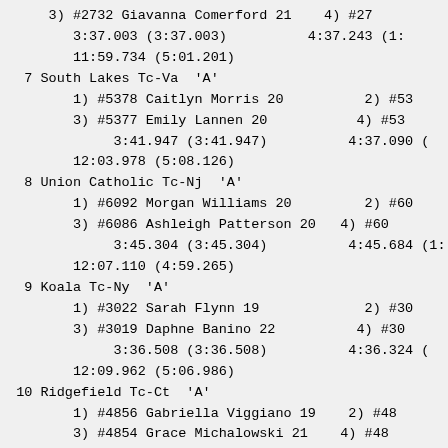3) #2732 Giavanna Comerford 21    4) #27
   3:37.003 (3:37.003)          4:37.243 (1:
   11:59.734 (5:01.201)
7 South Lakes Tc-Va  'A'
   1) #5378 Caitlyn Morris 20          2) #53
   3) #5377 Emily Lannen 20           4) #53
      3:41.947 (3:41.947)          4:37.090 (
   12:03.978 (5:08.126)
8 Union Catholic Tc-Nj  'A'
   1) #6092 Morgan Williams 20         2) #60
   3) #6086 Ashleigh Patterson 20   4) #60
      3:45.304 (3:45.304)          4:45.684 (1:
   12:07.110 (4:59.265)
9 Koala Tc-Ny  'A'
   1) #3022 Sarah Flynn 19             2) #30
   3) #3019 Daphne Banino 22          4) #30
      3:36.508 (3:36.508)          4:36.324 (
   12:09.962 (5:06.986)
10 Ridgefield Tc-Ct  'A'
    1) #4856 Gabriella Viggiano 19    2) #48
    3) #4854 Grace Michalowski 21    4) #48
       3:39.247 (3:39.247)          4:36.456 (
    12:14.087 (5:20.678)
11 Legacy Tc-Ny  'A'
    1) #3175 Jada Dennis 20            2) #31